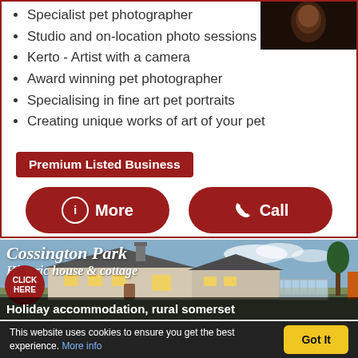[Figure (photo): Small headshot photo of a person, dark brown tones, top right corner of the listing card]
Specialist pet photographer
Studio and on-location photo sessions
Kerto - Artist with a camera
Award winning pet photographer
Specialising in fine art pet portraits
Creating unique works of art of your pet
Premium Listed Business
More
Call
[Figure (photo): Cossington Park advertisement banner showing a historic white house and cottage with blue sky, with text overlays: 'Cossington Park', 'Historic house & cottage', 'CLICK HERE' badge, 'Holiday accommodation, rural somerset']
This website uses cookies to ensure you get the best experience. More info
Got It